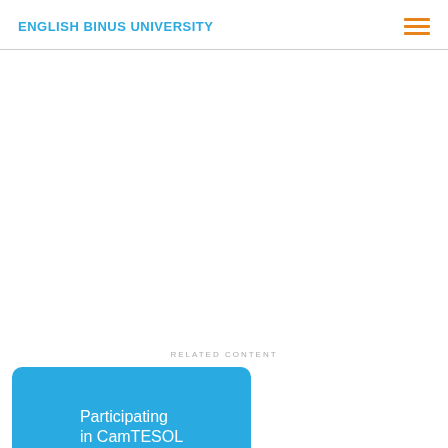ENGLISH BINUS UNIVERSITY
RELATED CONTENT
Participating in CamTESOL